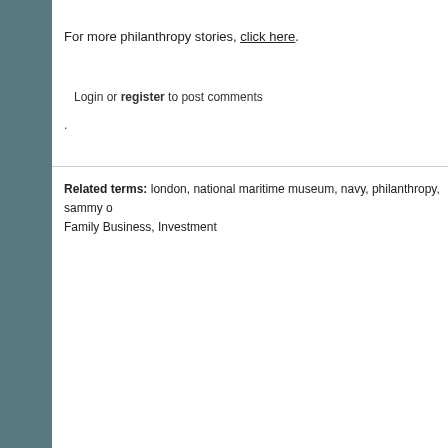For more philanthropy stories, click here.
Login or register to post comments
.
Related terms: london, national maritime museum, navy, philanthropy, sammy o Family Business, Investment